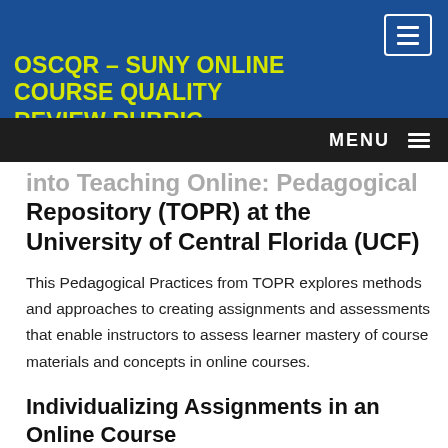OSCQR – SUNY ONLINE COURSE QUALITY
[Figure (screenshot): Navigation menu bar with MENU label and hamburger icon on dark background]
into Teaching Online: Pedagogical Repository (TOPR) at the University of Central Florida (UCF)
This Pedagogical Practices from TOPR explores methods and approaches to creating assignments and assessments that enable instructors to assess learner mastery of course materials and concepts in online courses.
Individualizing Assignments in an Online Course